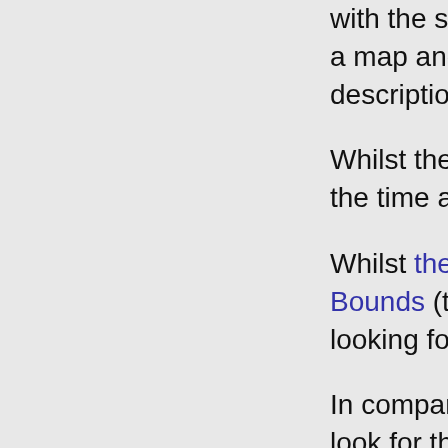with the statement a map and apply p description.
Whilst the adoptio the time as a revo
Whilst the Metes p Bounds (the descr looking for once yo
In comparison, the look for the bound sometimes downri Ordnance Survey was you were look
That line on the O a fence, a hedge o which it was base
A major limitation the mid nineteenth Ordnance Survey